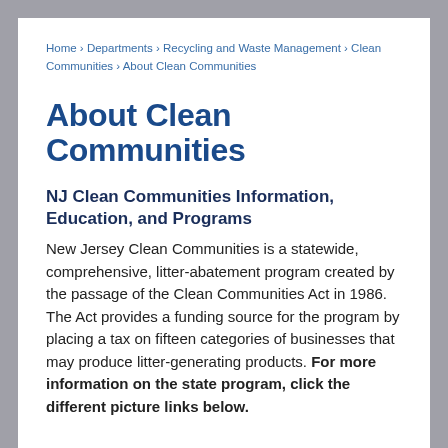Home › Departments › Recycling and Waste Management › Clean Communities › About Clean Communities
About Clean Communities
NJ Clean Communities Information, Education, and Programs
New Jersey Clean Communities is a statewide, comprehensive, litter-abatement program created by the passage of the Clean Communities Act in 1986. The Act provides a funding source for the program by placing a tax on fifteen categories of businesses that may produce litter-generating products. For more information on the state program, click the different picture links below.